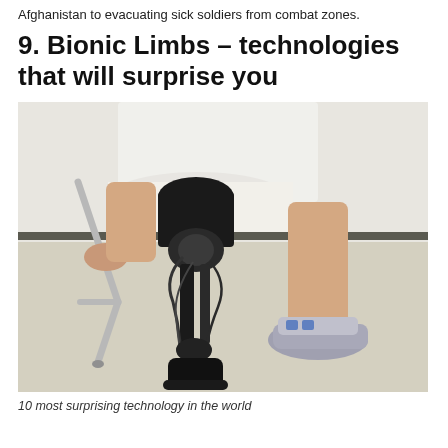Afghanistan to evacuating sick soldiers from combat zones.
9. Bionic Limbs – technologies that will surprise you
[Figure (photo): A person sitting on a chair with a robotic/bionic leg prosthetic attached, wearing a sneaker on the natural foot. The bionic limb has black mechanical components with wiring and joints visible.]
10 most surprising technology in the world